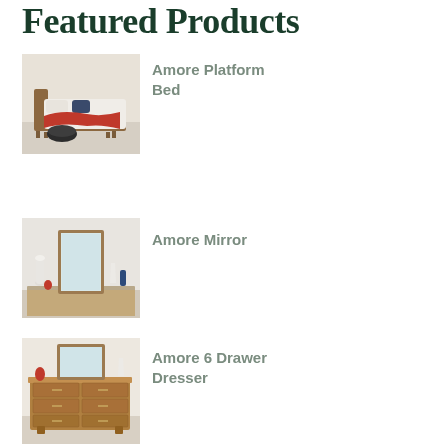Featured Products
[Figure (photo): Amore Platform Bed - mid-century modern platform bed with wooden frame, white bedding and red throw blanket]
Amore Platform Bed
[Figure (photo): Amore Mirror - tall rectangular mirror with wooden frame leaning against wall, with decorative objects]
Amore Mirror
[Figure (photo): Amore 6 Drawer Dresser - mid-century modern 6 drawer dresser in walnut wood with mirror on top]
Amore 6 Drawer Dresser